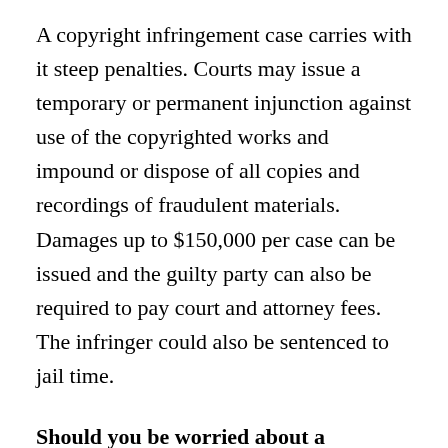A copyright infringement case carries with it steep penalties. Courts may issue a temporary or permanent injunction against use of the copyrighted works and impound or dispose of all copies and recordings of fraudulent materials. Damages up to $150,000 per case can be issued and the guilty party can also be required to pay court and attorney fees. The infringer could also be sentenced to jail time.
Should you be worried about a copyright infringement notice?
You should take copyright infringement